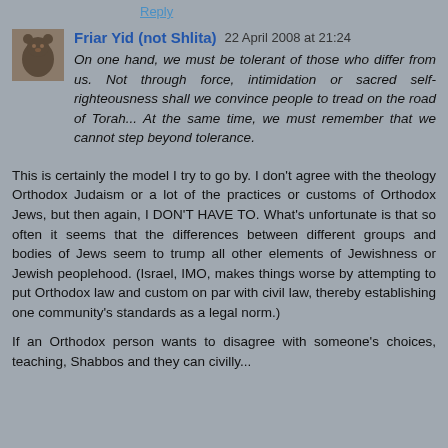Reply
Friar Yid (not Shlita) 22 April 2008 at 21:24
On one hand, we must be tolerant of those who differ from us. Not through force, intimidation or sacred self-righteousness shall we convince people to tread on the road of Torah... At the same time, we must remember that we cannot step beyond tolerance.
This is certainly the model I try to go by. I don't agree with the theology Orthodox Judaism or a lot of the practices or customs of Orthodox Jews, but then again, I DON'T HAVE TO. What's unfortunate is that so often it seems that the differences between different groups and bodies of Jews seem to trump all other elements of Jewishness or Jewish peoplehood. (Israel, IMO, makes things worse by attempting to put Orthodox law and custom on par with civil law, thereby establishing one community's standards as a legal norm.)
If an Orthodox person wants to disagree with someone's choices, teaching, Shabbos and they can civilly...